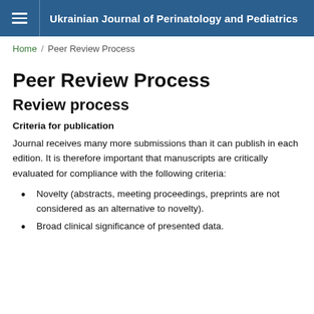Ukrainian Journal of Perinatology and Pediatrics
Home / Peer Review Process
Peer Review Process
Review process
Criteria for publication
Journal receives many more submissions than it can publish in each edition. It is therefore important that manuscripts are critically evaluated for compliance with the following criteria:
Novelty (abstracts, meeting proceedings, preprints are not considered as an alternative to novelty).
Broad clinical significance of presented data.